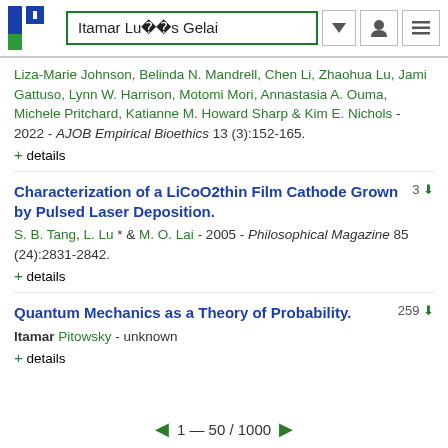Itamar Lu??s Gelai
Liza-Marie Johnson, Belinda N. Mandrell, Chen Li, Zhaohua Lu, Jami Gattuso, Lynn W. Harrison, Motomi Mori, Annastasia A. Ouma, Michele Pritchard, Katianne M. Howard Sharp & Kim E. Nichols - 2022 - AJOB Empirical Bioethics 13 (3):152-165.
+ details
Characterization of a LiCoO2thin Film Cathode Grown by Pulsed Laser Deposition.
S. B. Tang, L. Lu * & M. O. Lai - 2005 - Philosophical Magazine 85 (24):2831-2842.
+ details
Quantum Mechanics as a Theory of Probability.
Itamar Pitowsky - unknown
+ details
1 — 50 / 1000